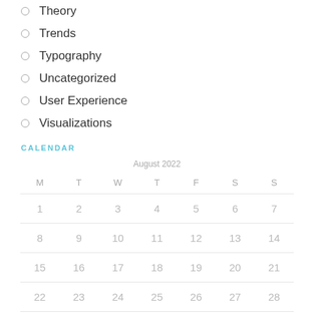Theory
Trends
Typography
Uncategorized
User Experience
Visualizations
CALENDAR
| M | T | W | T | F | S | S |
| --- | --- | --- | --- | --- | --- | --- |
| 1 | 2 | 3 | 4 | 5 | 6 | 7 |
| 8 | 9 | 10 | 11 | 12 | 13 | 14 |
| 15 | 16 | 17 | 18 | 19 | 20 | 21 |
| 22 | 23 | 24 | 25 | 26 | 27 | 28 |
| 29 | 30 | 31 |  |  |  |  |